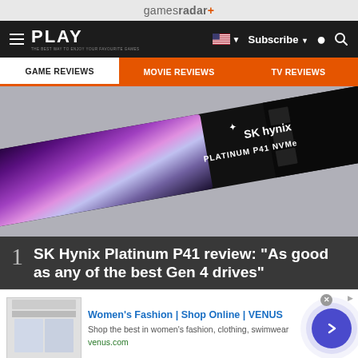gamesradar+
PLAY  Subscribe
GAME REVIEWS  MOVIE REVIEWS  TV REVIEWS
[Figure (photo): SK Hynix Platinum P41 NVMe SSD on a gray background, black PCB with purple reflective surface]
1 SK Hynix Platinum P41 review: "As good as any of the best Gen 4 drives"
[Figure (other): Advertisement: Women's Fashion | Shop Online | VENUS - Shop the best in women's fashion, clothing, swimwear. venus.com]